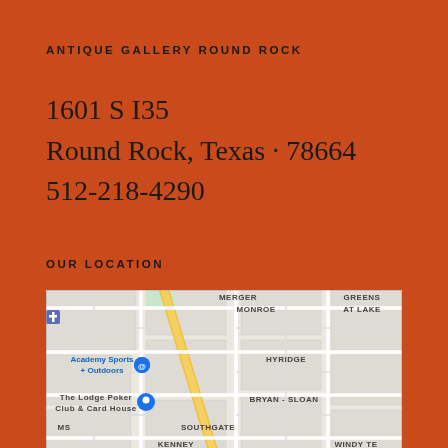ANTIQUE GALLERY ROUND ROCK
1601 S I35
Round Rock, Texas · 78664
512-218-4290
OUR LOCATION
[Figure (map): Google Maps screenshot showing the area around 1601 S I35, Round Rock, Texas. Visible landmarks include Academy Sports + Outdoors, The Lodge Poker Club & Card House, and neighborhoods labeled HYRIDGE, BRYAN - SLOAN, SOUTHGATE, KENNEY, GREENS AT LAKE, MONROE, MERGE, WINDY TE, FORT CENTER, MS.]